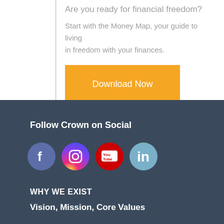Are you ready for financial freedom?
Start with the Money Map, your guide to living in freedom with your finances.
Download Now
Follow Crown on Social
[Figure (illustration): Social media icons: Facebook, Instagram, YouTube, LinkedIn]
WHY WE EXIST
Vision, Mission, Core Values